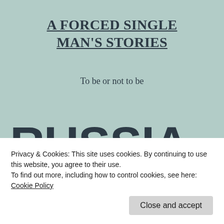A FORCED SINGLE MAN'S STORIES
To be or not to be
RUSSIA & ISLAM
Privacy & Cookies: This site uses cookies. By continuing to use this website, you agree to their use.
To find out more, including how to control cookies, see here: Cookie Policy
Close and accept